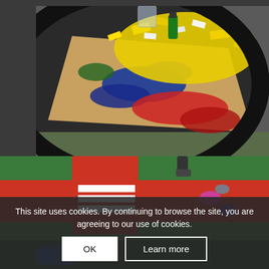[Figure (photo): Top-down view of a dark circular tray containing a piece of cardboard/paper with colorful painted artwork and paper scraps in yellow, blue, red, green colors. A clear cup is visible at the top.]
[Figure (photo): Outdoor playground surface showing green turf with red painted road markings (crossroads/intersection) and white pedestrian crossing stripes. Some colored chalk marks visible. A child's leg/shoe partially visible.]
This site uses cookies. By continuing to browse the site, you are agreeing to our use of cookies.